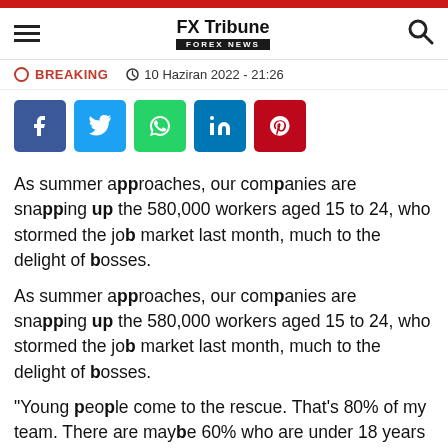FX Tribune FOREX NEWS
BREAKING  10 Haziran 2022 - 21:26
[Figure (other): Social share buttons: Facebook, Twitter, WhatsApp, LinkedIn, Pinterest]
As summer approaches, our companies are snapping up the 580,000 workers aged 15 to 24, who stormed the job market last month, much to the delight of bosses.
As summer approaches, our companies are snapping up the 580,000 workers aged 15 to 24, who stormed the job market last month, much to the delight of bosses.
"Young people come to the rescue. That's 80% of my team. There are maybe 60% who are under 18 years old,"breathes Sébastien Laframboise,